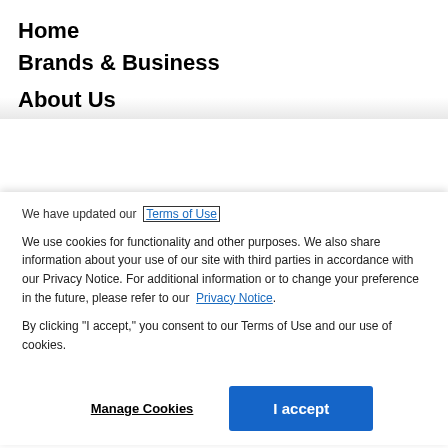Home
Brands & Business
About Us
We have updated our [Terms of Use]
We use cookies for functionality and other purposes. We also share information about your use of our site with third parties in accordance with our Privacy Notice. For additional information or to change your preference in the future, please refer to our Privacy Notice.
By clicking "I accept," you consent to our Terms of Use and our use of cookies.
Manage Cookies    I accept